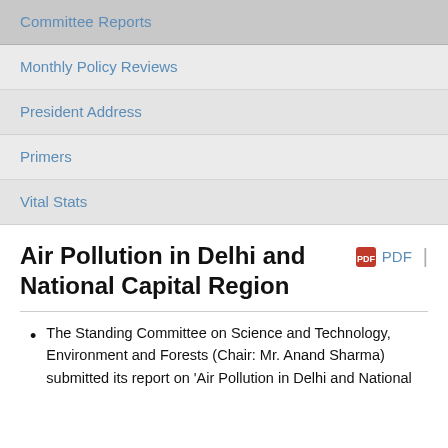Committee Reports
Monthly Policy Reviews
President Address
Primers
Vital Stats
Air Pollution in Delhi and National Capital Region
The Standing Committee on Science and Technology, Environment and Forests (Chair: Mr. Anand Sharma) submitted its report on 'Air Pollution in Delhi and National